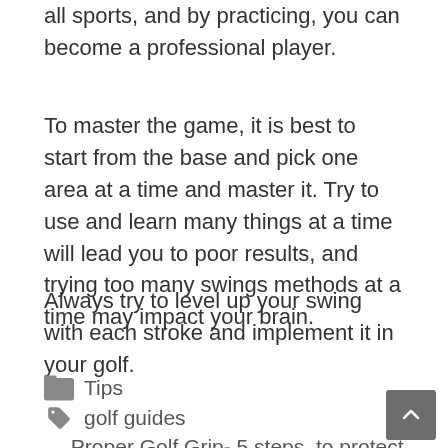all sports, and by practicing, you can become a professional player.
To master the game, it is best to start from the base and pick one area at a time and master it. Try to use and learn many things at a time will lead you to poor results, and trying too many swings methods at a time may impact your brain.
Always try to level up your swing with each stroke and implement it in your golf.
Tips
golf guides
< Proper Golf Grip- 5 steps to protect your Go...p